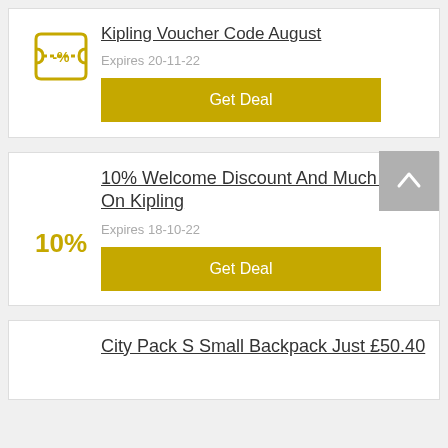Kipling Voucher Code August
Expires 20-11-22
Get Deal
10% Welcome Discount And Much More On Kipling
Expires 18-10-22
Get Deal
City Pack S Small Backpack Just £50.40